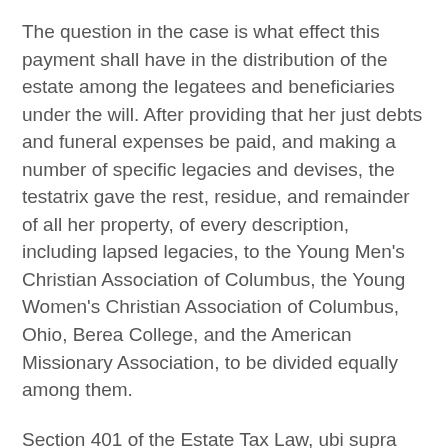The question in the case is what effect this payment shall have in the distribution of the estate among the legatees and beneficiaries under the will. After providing that her just debts and funeral expenses be paid, and making a number of specific legacies and devises, the testatrix gave the rest, residue, and remainder of all her property, of every description, including lapsed legacies, to the Young Men's Christian Association of Columbus, the Young Women's Christian Association of Columbus, Ohio, Berea College, and the American Missionary Association, to be divided equally among them.
Section 401 of the Estate Tax Law, ubi supra (Comp. St. Ann. Supp. 1919, 6336 3/4 b), imposes 'a tax equal to the sum of the following percentages of the value of the net estate,' determined as provided in section 403, 'upon the transfer of the net estate of every decedent dying after the passage of this act.' Then follow the percentages graduated according